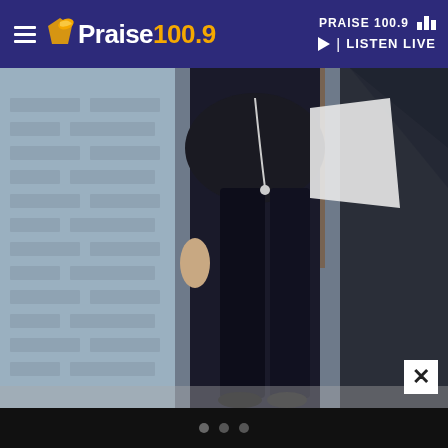Praise 100.9 | LISTEN LIVE
[Figure (photo): A person wearing dark skinny jeans, a loose black top and white jacket, walking outdoors in an urban setting with a brick wall and metal structure in background]
Dot navigation indicators